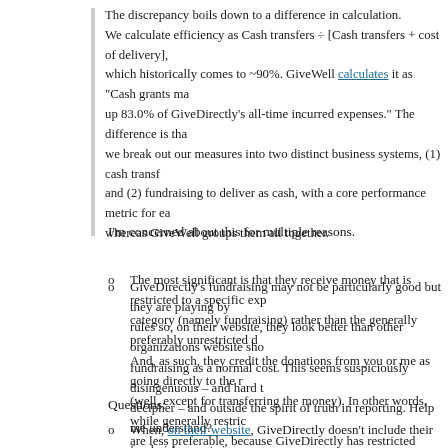The discrepancy boils down to a difference in calculation. We calculate efficiency as Cash transfers ÷ [Cash transfers + cost of delivery], which historically comes to ~90%. GiveWell calculates it as "Cash grants make up 83.0% of GiveDirectly's all-time incurred expenses." The difference is that we break out our measures into two distinct business systems, (1) cash transfers and (2) fundraising to deliver as cash, with a core performance metric for each, whereas GiveWell groups them all together.
I'm concerned about this for multiple reasons.
The most significant is that they receive money that is restricted to a specific expense category (namely fundraising) rather than the generally preferably unrestricted donations. And, as such, they credit the donations from you or me as going directly to the recipients (well, except for transferring the money). In other words, while generally restricted funds are less preferable, because GiveDirectly has restricted funds for fundraising and is crediting themselves as having a lower overhead for your or my donations than everyone else even though, in fact, their fundraising is nothing special, it is just that the unrestricted funds that you or I are donating, are not going towards fundraising (or perhaps even overhead).
GiveDirectly's fundraising may not be particularly good but they are playing by the rules so, on their website, they look better than other organizations website showing fundraising as a normal cost. This seems suspiciously disingenuous – and hard to decipher – and outside the spirit of truth in reporting. Help me understand?
Questions:
When, on their website, GiveDirectly doesn't include their fundraising costs in...